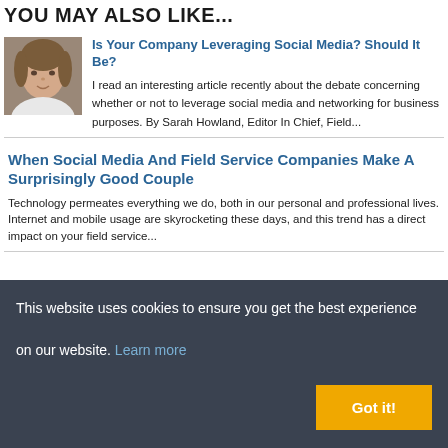YOU MAY ALSO LIKE...
[Figure (photo): Headshot of a woman with curly hair wearing a white top]
Is Your Company Leveraging Social Media? Should It Be?
I read an interesting article recently about the debate concerning whether or not to leverage social media and networking for business purposes. By Sarah Howland, Editor In Chief, Field...
When Social Media And Field Service Companies Make A Surprisingly Good Couple
Technology permeates everything we do, both in our personal and professional lives. Internet and mobile usage are skyrocketing these days, and this trend has a direct impact on your field service...
This website uses cookies to ensure you get the best experience on our website. Learn more
Got it!